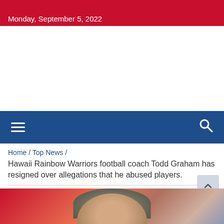Monday, September 5, 2022
[Figure (screenshot): Navigation bar with hamburger menu icon on left and search icon on right, dark blue background]
Home / Top News / Hawaii Rainbow Warriors football coach Todd Graham has resigned over allegations that he abused players.
[Figure (photo): Blurred photo of a man (Todd Graham) with gray hair against an orange/red background]